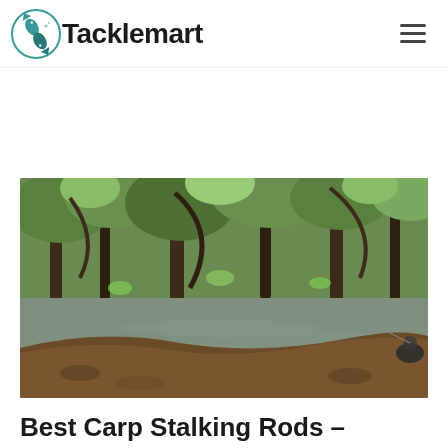Tacklemart
[Figure (photo): A person fishing by a river bank surrounded by dense woodland with overhanging trees and green foliage. The water is visible in the background with a murky brown-green colour.]
Best Carp Stalking Rods –